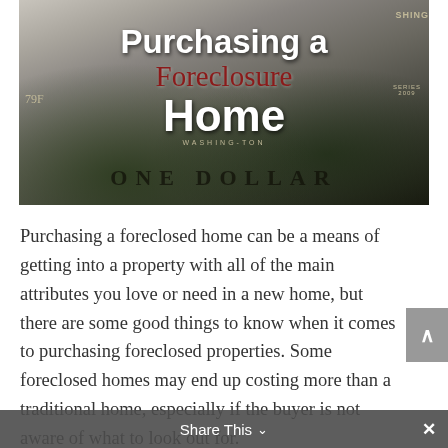[Figure (photo): A close-up photo of a US one dollar bill with torn paper effect revealing the headline text 'Purchasing a Foreclosure Home' overlaid. The text 'Purchasing a' and 'Home' appear in white bold sans-serif, 'Foreclosure' in red serif. The bill shows 'ONE DOLLAR', 'SERIES 2009', '79F', 'WASHINGTON' and 'SHING' visible.]
Purchasing a foreclosed home can be a means of getting into a property with all of the main attributes you love or need in a new home, but there are some good things to know when it comes to purchasing foreclosed properties. Some foreclosed homes may end up costing more than a traditional home, especially if the buyer is not aware of what to look out for.
Share This ∨  ✕